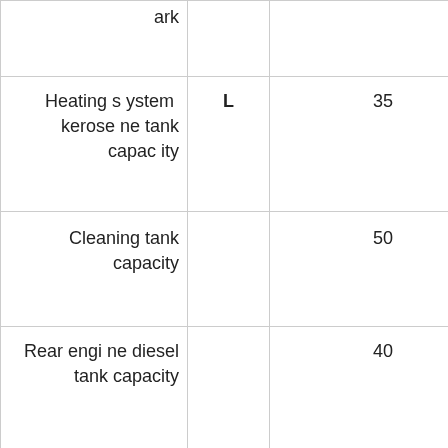| …tank |  |  |
| Heating system kerosene tank capacity | L | 35 |
| Cleaning tank capacity |  | 50 |
| Rear engine diesel tank capacity |  | 40 |
| D rain | fl ow | L/min | 900 (at 400r / min time) |